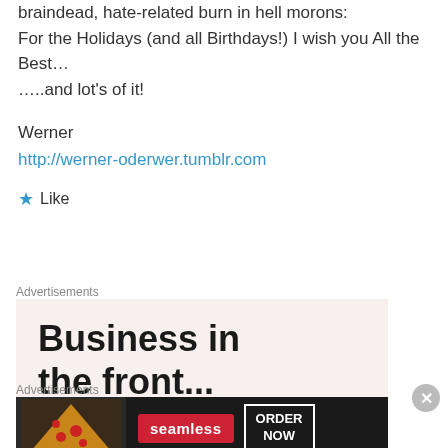braindead, hate-related burn in hell morons:
For the Holidays (and all Birthdays!) I wish you All the Best…
…..and lot's of it!
Werner
http://werner-oderwer.tumblr.com
★ Like
Advertisements
[Figure (infographic): Advertisement banner with text 'Business in the front...' on a light beige background with an orange-pink gradient bar at the bottom.]
Advertisements
[Figure (infographic): Seamless food delivery advertisement showing pizza, Seamless logo in red, and 'ORDER NOW' text on dark background.]